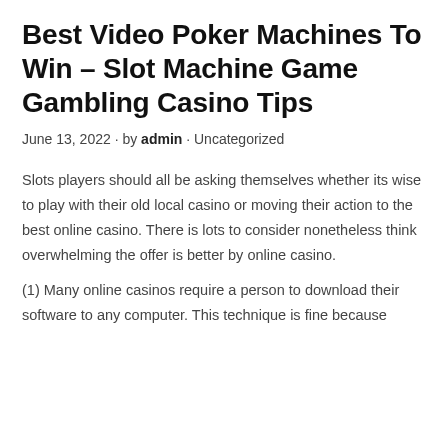Best Video Poker Machines To Win – Slot Machine Game Gambling Casino Tips
June 13, 2022 · by admin · Uncategorized
Slots players should all be asking themselves whether its wise to play with their old local casino or moving their action to the best online casino. There is lots to consider nonetheless think overwhelming the offer is better by online casino.
(1) Many online casinos require a person to download their software to any computer. This technique is fine because